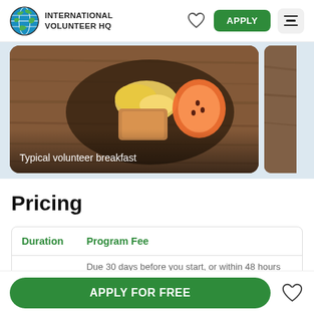INTERNATIONAL VOLUNTEER HQ
[Figure (photo): Food photo showing a typical volunteer breakfast with scrambled eggs, bread, and orange/papaya on a wooden surface. Caption: 'Typical volunteer breakfast']
Typical volunteer breakfast
Pricing
| Duration | Program Fee |
| --- | --- |
|  | Due 30 days before you start, or within 48 hours |
APPLY FOR FREE